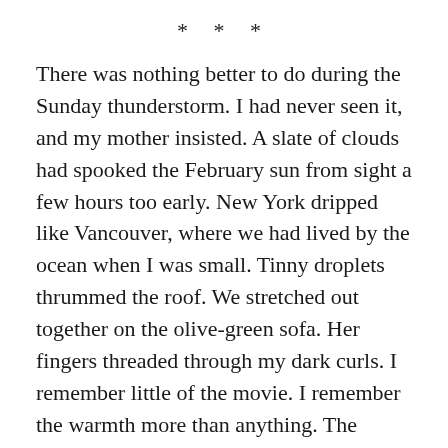* * *
There was nothing better to do during the Sunday thunderstorm. I had never seen it, and my mother insisted. A slate of clouds had spooked the February sun from sight a few hours too early. New York dripped like Vancouver, where we had lived by the ocean when I was small. Tinny droplets thrummed the roof. We stretched out together on the olive-green sofa. Her fingers threaded through my dark curls. I remember little of the movie. I remember the warmth more than anything. The orangey glow haloing Demi Moore as she tracked a penny along the doorframe. Heat emanating off my mother’s chest. Embers sputtering in our fireplace. I don’t know where my father was. Moore’s amber eyes glittered, incandescent with awe.